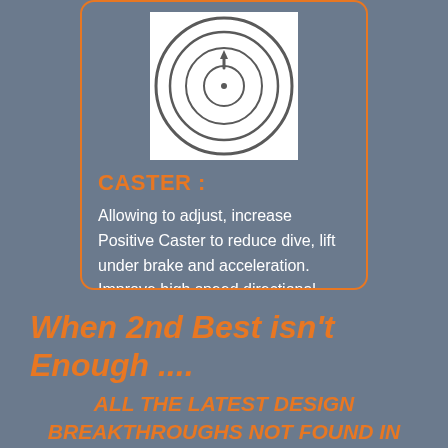[Figure (illustration): Line drawing illustration of a caster wheel component viewed from above, showing concentric circles with a small indicator mark at top]
CASTER :
Allowing to adjust, increase Positive Caster to reduce dive, lift under brake and acceleration. Improve high speed directional control, Better turn in, Correctly resolve steering pull.
When 2nd Best isn't Enough ....
ALL THE LATEST DESIGN BREAKTHROUGHS NOT FOUND IN OTHER BRANDS